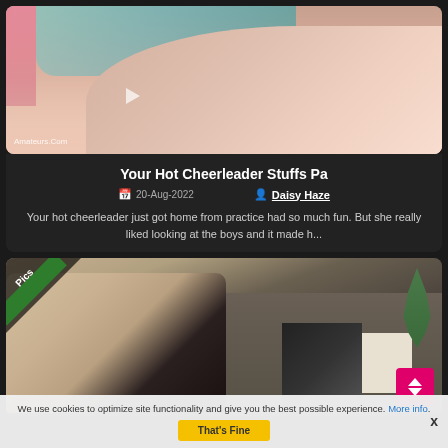[Figure (photo): Top portion of a video thumbnail showing a person lying down with teal/turquoise fabric and pink floral background, watermark reads Amateurs.Com]
Your Hot Cheerleader Stuffs Pa
20-Aug-2022
Daisy Haze
Your hot cheerleader just got home from practice had so much fun. But she really liked looking at the boys and it made h...
[Figure (photo): Photo of a blonde woman sitting on a grey sofa, wearing a black floral dress and black stockings/shoes, with a white pillow and plant visible. Badge reading Pics in upper left corner.]
We use cookies to optimize site functionality and give you the best possible experience. More info. That's Fine x